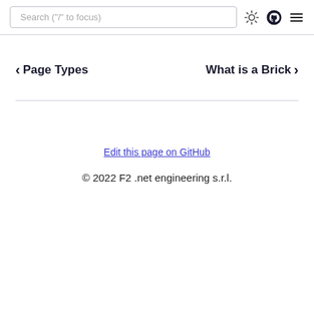Search ("/" to focus)
< Page Types    What is a Brick >
Edit this page on GitHub
© 2022 F2 .net engineering s.r.l.